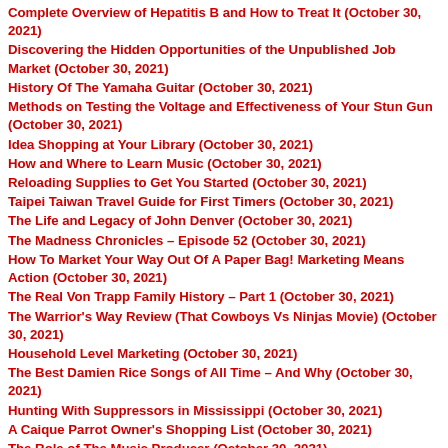Complete Overview of Hepatitis B and How to Treat It (October 30, 2021)
Discovering the Hidden Opportunities of the Unpublished Job Market (October 30, 2021)
History Of The Yamaha Guitar (October 30, 2021)
Methods on Testing the Voltage and Effectiveness of Your Stun Gun (October 30, 2021)
Idea Shopping at Your Library (October 30, 2021)
How and Where to Learn Music (October 30, 2021)
Reloading Supplies to Get You Started (October 30, 2021)
Taipei Taiwan Travel Guide for First Timers (October 30, 2021)
The Life and Legacy of John Denver (October 30, 2021)
The Madness Chronicles – Episode 52 (October 30, 2021)
How To Market Your Way Out Of A Paper Bag! Marketing Means Action (October 30, 2021)
The Real Von Trapp Family History – Part 1 (October 30, 2021)
The Warrior's Way Review (That Cowboys Vs Ninjas Movie) (October 30, 2021)
Household Level Marketing (October 30, 2021)
The Best Damien Rice Songs of All Time – And Why (October 30, 2021)
Hunting With Suppressors in Mississippi (October 30, 2021)
A Caique Parrot Owner's Shopping List (October 30, 2021)
The Role of The Music Producer (October 30, 2021)